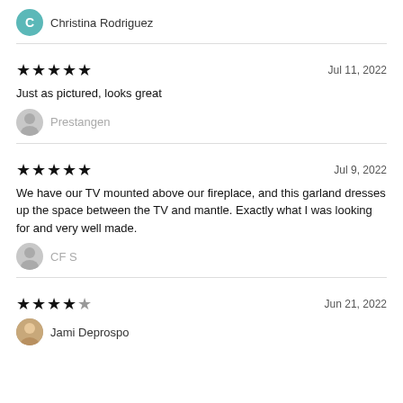Christina Rodriguez
★★★★★   Jul 11, 2022
Just as pictured, looks great
Prestangen
★★★★★   Jul 9, 2022
We have our TV mounted above our fireplace, and this garland dresses up the space between the TV and mantle. Exactly what I was looking for and very well made.
CF S
★★★★☆   Jun 21, 2022
Jami Deprospo